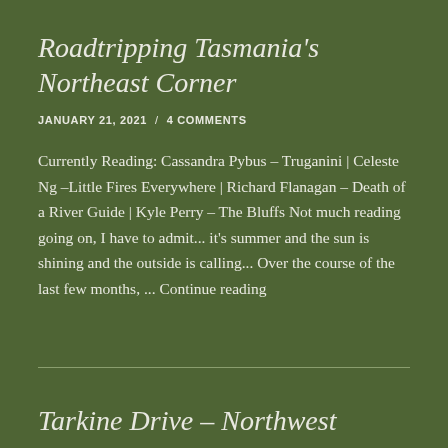Roadtripping Tasmania's Northeast Corner
JANUARY 21, 2021  /  4 COMMENTS
Currently Reading: Cassandra Pybus – Truganini | Celeste Ng –Little Fires Everywhere | Richard Flanagan – Death of a River Guide | Kyle Perry – The Bluffs Not much reading going on, I have to admit... it's summer and the sun is shining and the outside is calling... Over the course of the last few months, ... Continue reading
Tarkine Drive – Northwest